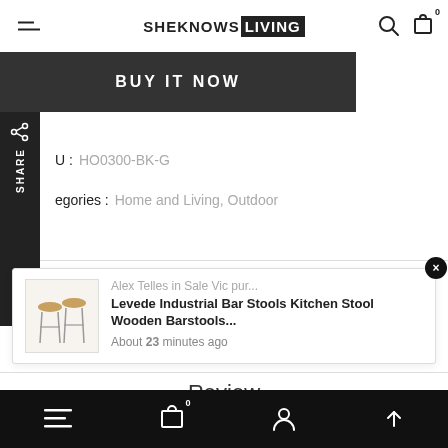SHE KNOWS LIVING
BUY IT NOW
SKU : HO0300-BK-G
Categories : Home and Living, Outdoor
Alex Telles in Sale Vic pur... Levede Industrial Bar Stools Kitchen Stool Wooden Barstools... About 23 minutes ago
Review
bottom navigation bar